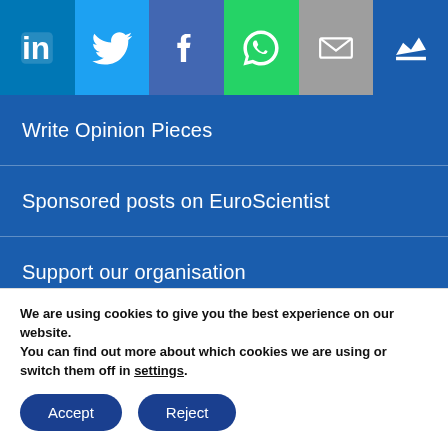[Figure (other): Social media sharing icon bar: LinkedIn (blue), Twitter (light blue), Facebook (dark blue/purple), WhatsApp (green), Email (grey), Crown/premium (blue)]
Write Opinion Pieces
Sponsored posts on EuroScientist
Support our organisation
Donate
Advertise
Distribute our content
We are using cookies to give you the best experience on our website.
You can find out more about which cookies we are using or switch them off in settings.
Accept   Reject